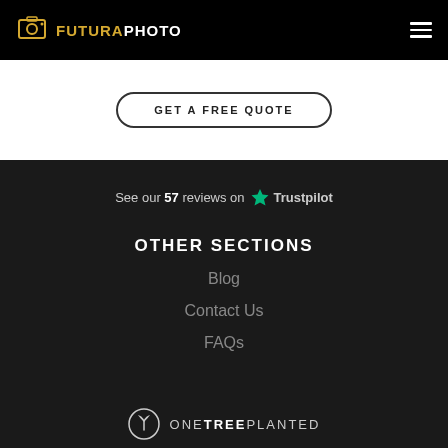FUTURAPHOTO
GET A FREE QUOTE
See our 57 reviews on Trustpilot
OTHER SECTIONS
Blog
Contact Us
FAQs
[Figure (logo): One Tree Planted logo with circular leaf icon and ONETREEPLANTED text]
ONETREEPLANTED